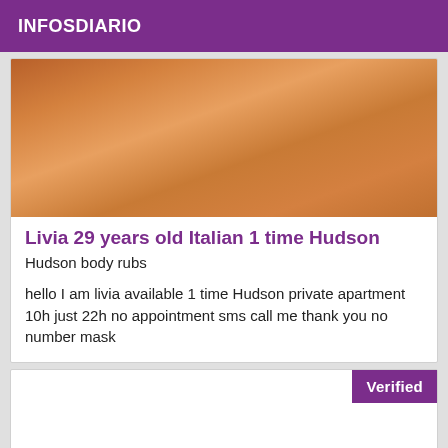INFOSDIARIO
[Figure (photo): Close-up photo of a person's legs and lower body against a beige/tan background]
Livia 29 years old Italian 1 time Hudson
Hudson body rubs
hello I am livia available 1 time Hudson private apartment 10h just 22h no appointment sms call me thank you no number mask
Verified